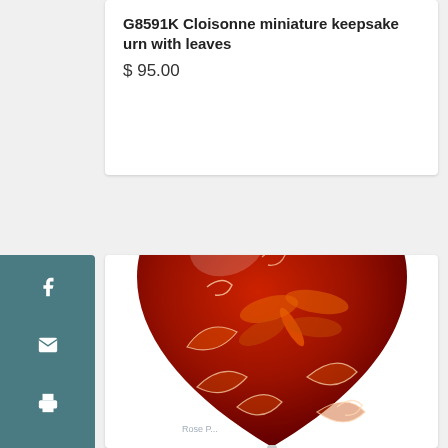G8591K Cloisonne miniature keepsake urn with leaves
$ 95.00
[Figure (photo): Red heart-shaped cloisonne miniature keepsake urn decorated with dragonfly and leaf patterns, displayed on a small silver wire stand. The urn has a glossy red finish with orange and white decorative elements.]